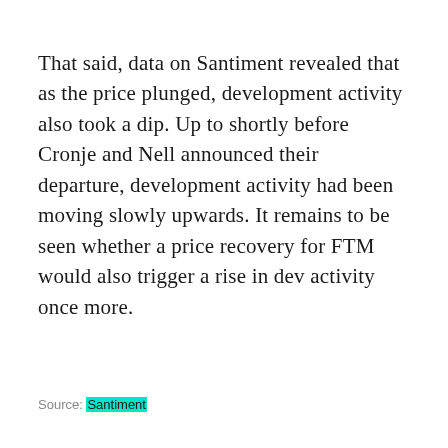That said, data on Santiment revealed that as the price plunged, development activity also took a dip. Up to shortly before Cronje and Nell announced their departure, development activity had been moving slowly upwards. It remains to be seen whether a price recovery for FTM would also trigger a rise in dev activity once more.
Source: Santiment